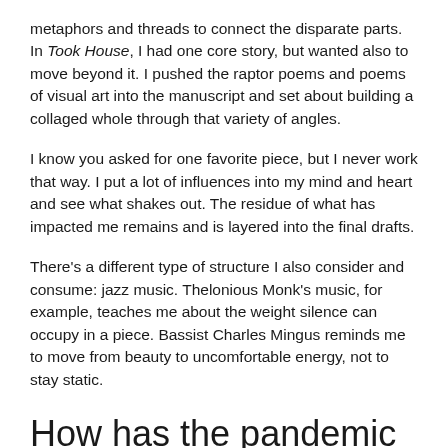metaphors and threads to connect the disparate parts. In Took House, I had one core story, but wanted also to move beyond it. I pushed the raptor poems and poems of visual art into the manuscript and set about building a collaged whole through that variety of angles.
I know you asked for one favorite piece, but I never work that way. I put a lot of influences into my mind and heart and see what shakes out. The residue of what has impacted me remains and is layered into the final drafts.
There's a different type of structure I also consider and consume: jazz music. Thelonious Monk's music, for example, teaches me about the weight silence can occupy in a piece. Bassist Charles Mingus reminds me to move from beauty to uncomfortable energy, not to stay static.
How has the pandemic altered the debut process of this collection?  Any unexpected loss arise?